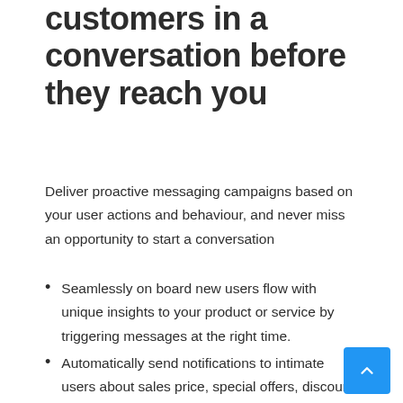customers in a conversation before they reach you
Deliver proactive messaging campaigns based on your user actions and behaviour, and never miss an opportunity to start a conversation
Seamlessly on board new users flow with unique insights to your product or service by triggering messages at the right time.
Automatically send notifications to intimate users about sales price, special offers, discount coupons, limited-time deals and motivate users to action.
Nudge your chat bot users in the right direction based on their purchase journey